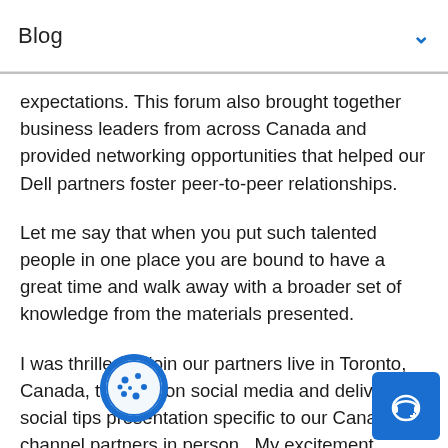Blog
expectations. This forum also brought together business leaders from across Canada and provided networking opportunities that helped our Dell partners foster peer-to-peer relationships.
Let me say that when you put such talented people in one place you are bound to have a great time and walk away with a broader set of knowledge from the materials presented.
I was thrilled to join our partners live in Toronto, Canada, to focus on social media and deliver a social tips presentation specific to our Canadian channel partners in person.  My excitement stems from engaging with our partners directly and not just online via Twitter and LinkedIn.  This was a fantastic opportunity to engage our partners and educate them on social media best